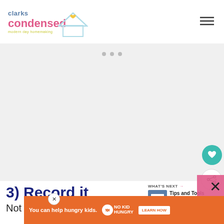[Figure (logo): Clarks Condensed logo with house illustration and tagline 'modern day homemaking']
[Figure (other): Gray advertisement placeholder area with three small dots at top center]
[Figure (other): Teal floating heart button and white share button on right side]
3) Record it
[Figure (other): What's Next widget with thumbnail image and text 'Tips and Tools for Family...']
Not everyone likes to write things down...
[Figure (other): Orange No Kid Hungry advertisement banner at bottom with 'You can help hungry kids.' text and LEARN HOW button]